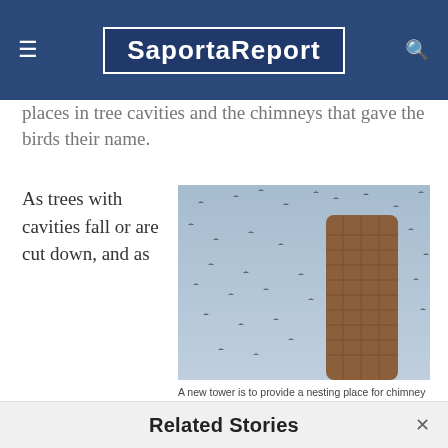SaportaReport
places in tree cavities and the chimneys that gave the birds their name.
As trees with cavities fall or are cut down, and as
[Figure (photo): Birds (chimney swifts) flying around a tall brick chimney/tower against a light blue-grey sky, photographed from a low angle looking up.]
A new tower is to provide a nesting place for chimney swifts, who are losing places to land as trees with cavities are removed and chimney are sealed. Credit: nc.audubon.org
Related Stories